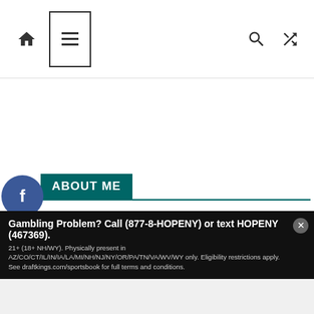[Figure (screenshot): Website navigation bar with home icon, hamburger menu (highlighted with border), search icon, and shuffle icon]
ABOUT ME
[Figure (photo): Profile photo of a young Asian woman with brown hair, looking at camera]
[Figure (infographic): Social media sidebar buttons: Facebook (blue), Twitter (light blue), Pinterest (red), Facebook (green), LinkedIn (blue), and infolinks badge]
Gambling Problem? Call (877-8-HOPENY) or text HOPENY (467369). 21+ (18+ NH/WY). Physically present in AZ/CO/CT/IL/IN/IA/LA/MI/NH/NJ/NY/OR/PA/TN/VA/WV/WY only. Eligibility restrictions apply. See draftkings.com/sportsbook for full terms and conditions.